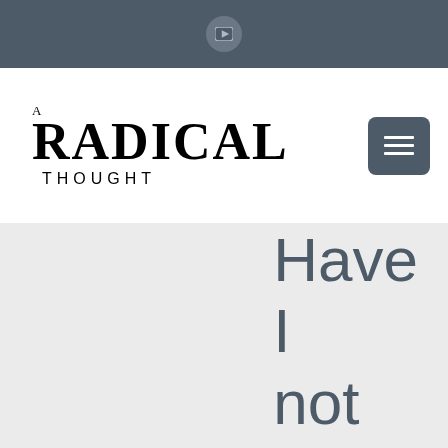[YouTube icon in header bar]
A Radical Thought
[Figure (other): Hamburger menu button icon (three horizontal lines) in dark grey/slate square with rounded corners]
Have
I
not